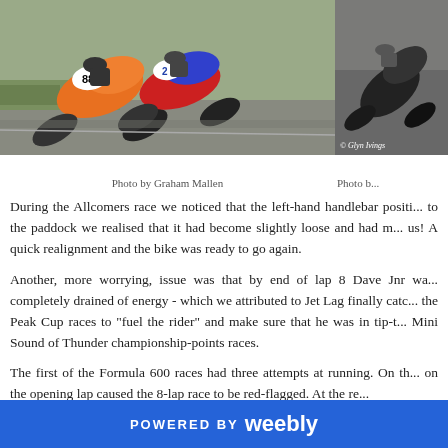[Figure (photo): Motorcycle racing photo showing bikes numbered 88 and others leaning into a corner on a race track. Photo by Graham Mallen.]
[Figure (photo): Partial photo of a motorcycle on track with © Glyn Ivings watermark. Caption starts with 'Photo b...']
Photo by Graham Mallen
Photo b...
During the Allcomers race we noticed that the left-hand handlebar positi... to the paddock we realised that it had become slightly loose and had m... us! A quick realignment and the bike was ready to go again.
Another, more worrying, issue was that by end of lap 8 Dave Jnr wa... completely drained of energy - which we attributed to Jet Lag finally catc... the Peak Cup races to "fuel the rider" and make sure that he was in tip-t... Mini Sound of Thunder championship-points races.
The first of the Formula 600 races had three attempts at running. On th... on the opening lap caused the 8-lap race to be red-flagged. At the re...
POWERED BY weebly